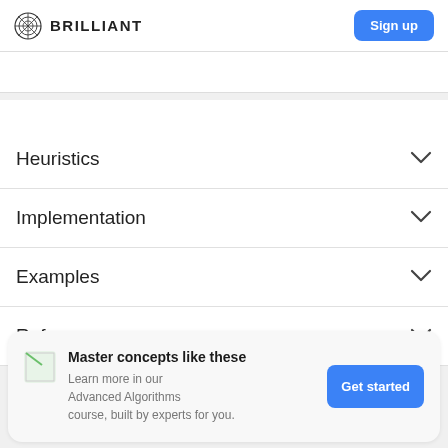BRILLIANT | Sign up
Heuristics
Implementation
Examples
References
Master concepts like these
Learn more in our Advanced Algorithms course, built by experts for you.